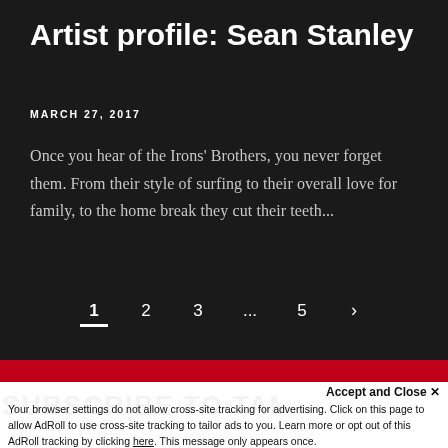Artist profile: Sean Stanley
MARCH 27, 2017
Once you hear of the Irons' Brothers, you never forget them. From their style of surfing to their overall love for family, to the home break they cut their teeth...
1  2  3  ...  5  >
Accept and Close ×
SUBSCRIBE TO TAMBA
Your browser settings do not allow cross-site tracking for advertising. Click on this page to allow AdRoll to use cross-site tracking to tailor ads to you. Learn more or opt out of this AdRoll tracking by clicking here. This message only appears once.